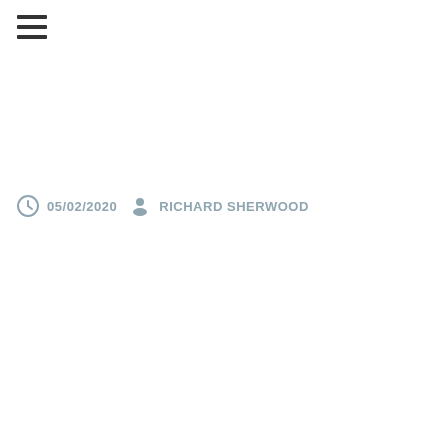[Figure (other): Hamburger menu icon — three horizontal lines stacked]
05/02/2020  RICHARD SHERWOOD